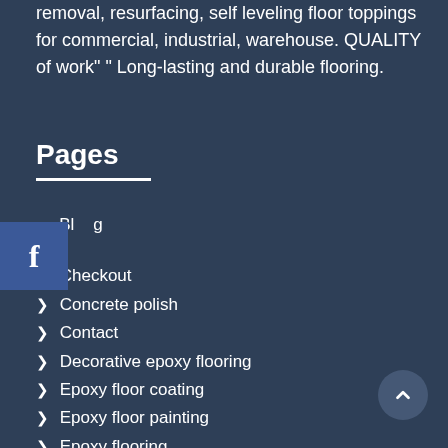removal, resurfacing, self leveling floor toppings for commercial, industrial, warehouse. QUALITY of work" " Long-lasting and durable flooring.
Pages
Blog
t
Checkout
Concrete polish
Contact
Decorative epoxy flooring
Epoxy floor coating
Epoxy floor painting
Epoxy flooring
Epoxy Flooring Gallery
Floor coating